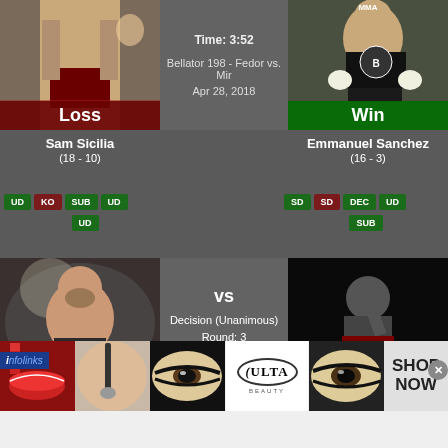[Figure (photo): Sam Sicilia fighter photo with 'Loss' badge overlay (dark red)]
Time: 3:52
Bellator 198 - Fedor vs. Mir
Apr 28, 2018
[Figure (photo): Emmanuel Sanchez fighter photo with 'Win' badge overlay (green)]
Sam Sicilia
(18 - 10)
UD  KO  SUB  UD  UD
Emmanuel Sanchez
(16 - 3)
SD  SD  DEC  UD  SUB
[Figure (photo): Second fighter photo bottom left (bald bearded fighter)]
vs
Decision (Unanimous)
Round: 3
Time: 5:00
[Figure (photo): Right fighter silhouette with Loss badge (dark red)]
infolinks
[Figure (photo): Ulta Beauty advertisement banner with makeup imagery and SHOP NOW text]